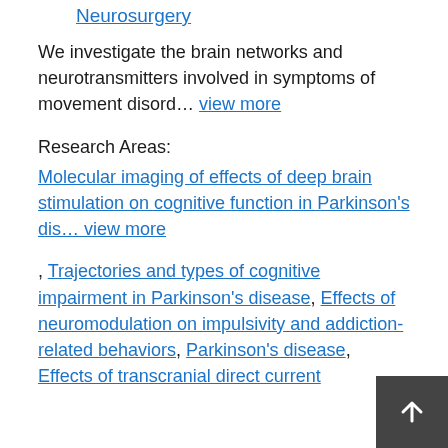Neurosurgery
We investigate the brain networks and neurotransmitters involved in symptoms of movement disord… view more
Research Areas:
Molecular imaging of effects of deep brain stimulation on cognitive function in Parkinson's dis… view more
, Trajectories and types of cognitive impairment in Parkinson's disease, Effects of neuromodulation on impulsivity and addiction-related behaviors, Parkinson's disease, Effects of transcranial direct current